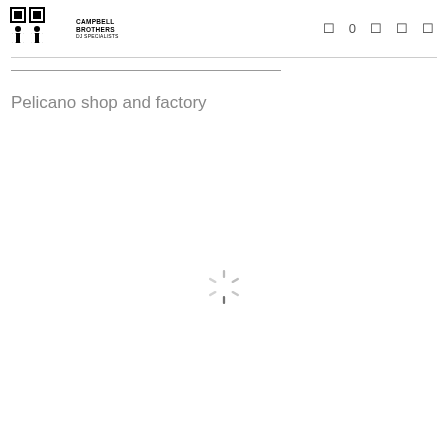Campbell Brothers logo and navigation
Pelicano shop and factory
[Figure (other): Loading spinner icon (circular dashed loader animation indicator)]